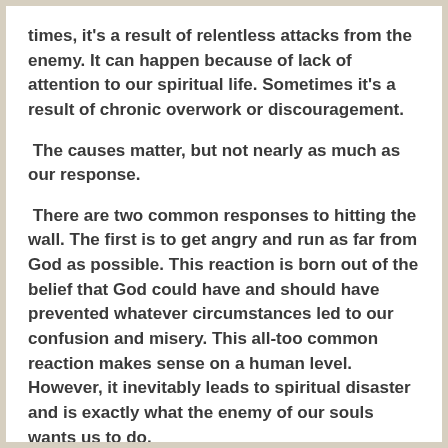times, it's a result of relentless attacks from the enemy. It can happen because of lack of attention to our spiritual life. Sometimes it's a result of chronic overwork or discouragement.
The causes matter, but not nearly as much as our response.
There are two common responses to hitting the wall. The first is to get angry and run as far from God as possible. This reaction is born out of the belief that God could have and should have prevented whatever circumstances led to our confusion and misery. This all-too common reaction makes sense on a human level. However, it inevitably leads to spiritual disaster and is exactly what the enemy of our souls wants us to do.